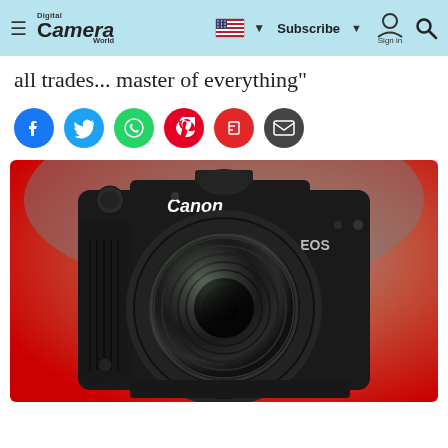Digital Camera World — Subscribe | Sign in
all trades... master of everything"
[Figure (infographic): Row of six circular social media share buttons: Facebook (blue), Twitter (light blue), WhatsApp (green), Pinterest (red), Flipboard (red), Email (dark grey)]
[Figure (photo): Canon EOS R mirrorless camera body with lens attached, photographed front-on against a red and grey gradient background]